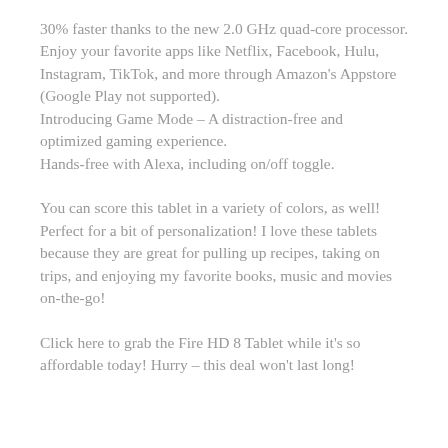30% faster thanks to the new 2.0 GHz quad-core processor.
Enjoy your favorite apps like Netflix, Facebook, Hulu, Instagram, TikTok, and more through Amazon's Appstore (Google Play not supported).
Introducing Game Mode – A distraction-free and optimized gaming experience.
Hands-free with Alexa, including on/off toggle.
You can score this tablet in a variety of colors, as well! Perfect for a bit of personalization! I love these tablets because they are great for pulling up recipes, taking on trips, and enjoying my favorite books, music and movies on-the-go!
Click here to grab the Fire HD 8 Tablet while it's so affordable today! Hurry – this deal won't last long!